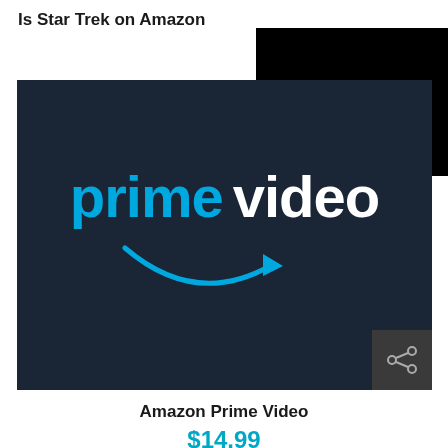Is Star Trek on Amazon
[Figure (logo): Amazon Prime Video logo on dark navy background, with 'prime' in blue and 'video' in white text, and the Amazon smile/arrow beneath in blue.]
Amazon Prime Video
$14.99